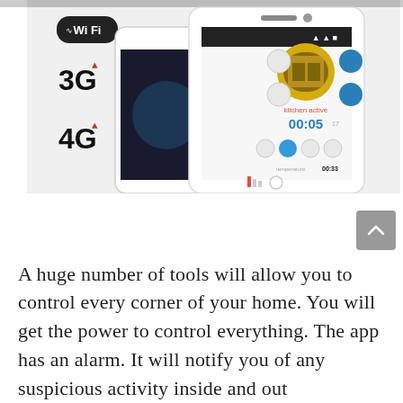[Figure (photo): Smartphones showing a smart home control app with WiFi, 3G, and 4G connectivity icons. The app displays 'kitchen active' with a timer showing 00:05 and various control buttons.]
A huge number of tools will allow you to control every corner of your home. You will get the power to control everything. The app has an alarm. It will notify you of any suspicious activity inside and out